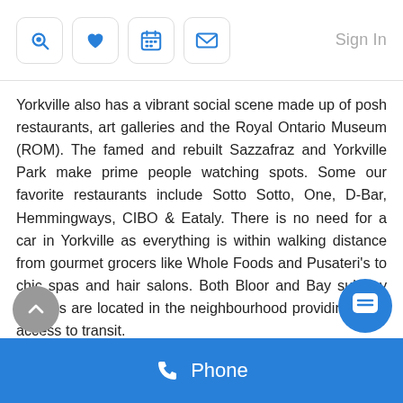Navigation icons and Sign In
Yorkville also has a vibrant social scene made up of posh restaurants, art galleries and the Royal Ontario Museum (ROM). The famed and rebuilt Sazzafraz and Yorkville Park make prime people watching spots. Some our favorite restaurants include Sotto Sotto, One, D-Bar, Hemmingways, CIBO & Eataly. There is no need for a car in Yorkville as everything is within walking distance from gourmet grocers like Whole Foods and Pusateri's to chic spas and hair salons. Both Bloor and Bay subway stations are located in the neighbourhood providing easy access to transit.
Yorkville is an exclusive Toronto neighbourhood, with some of Canada's most expensive and prestigious condos, such as The Four Seasons Private Residences. 155 Cumberland Street and 1 Yorkville are a few examples of some of the most luxurious buildin...
Phone